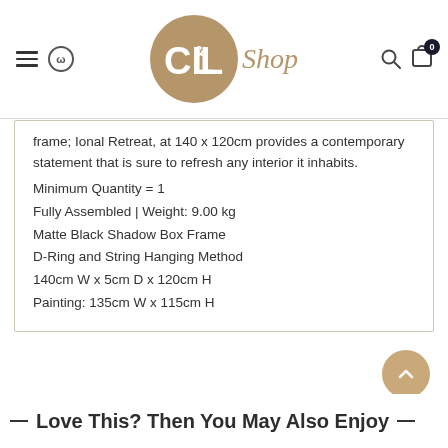[Figure (logo): CL&L Shop logo — circular tan/gold badge with white CL&L text, followed by 'Shop' in tan italic script]
frame; Ional Retreat, at 140 x 120cm provides a contemporary statement that is sure to refresh any interior it inhabits.
Minimum Quantity = 1
Fully Assembled | Weight: 9.00 kg
Matte Black Shadow Box Frame
D-Ring and String Hanging Method
140cm W x 5cm D x 120cm H
Painting: 135cm W x 115cm H
Love This? Then You May Also Enjoy